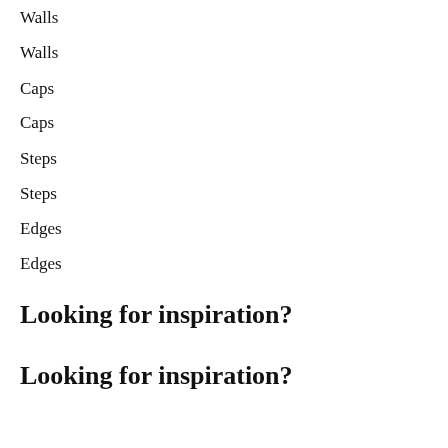Walls
Walls
Caps
Caps
Steps
Steps
Edges
Edges
Looking for inspiration?
Looking for inspiration?